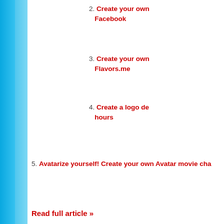2. Create your own Facebook
3. Create your own Flavors.me
4. Create a logo de hours
5. Avatarize yourself! Create your own Avatar movie cha
Read full article »
Community News
[Figure (illustration): Cartoon avatar character with a yellow crown and red headband, wearing a brown outfit with large white eyes with black pupils, set against a light blue sky background.]